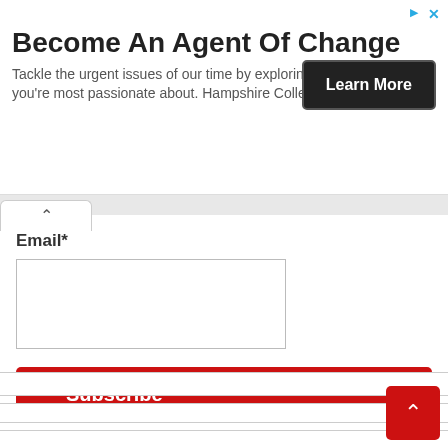Become An Agent Of Change
Tackle the urgent issues of our time by exploring the topics you're most passionate about. Hampshire College
[Figure (other): Learn More button (dark rounded rectangle)]
Email*
[Figure (other): Email input text box]
[Figure (other): Subscribe button (red rounded rectangle)]
[Figure (other): Scroll to top button (red square with up arrow, bottom right)]